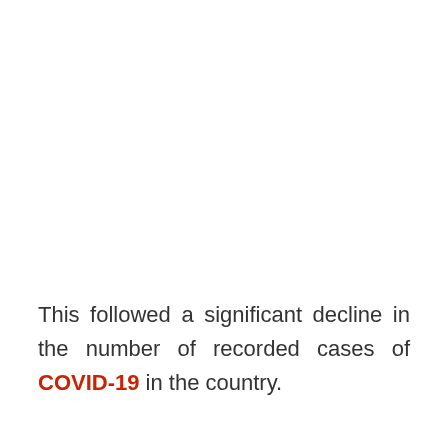This followed a significant decline in the number of recorded cases of COVID-19 in the country.